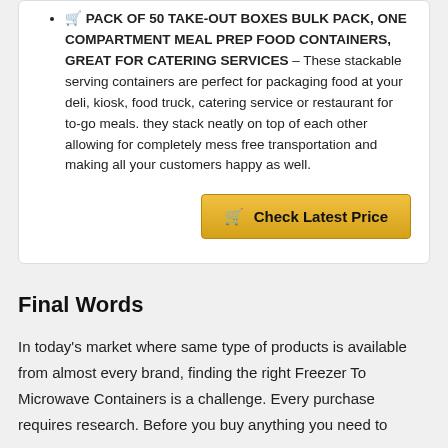🛒 PACK OF 50 TAKE-OUT BOXES BULK PACK, ONE COMPARTMENT MEAL PREP FOOD CONTAINERS, GREAT FOR CATERING SERVICES – These stackable serving containers are perfect for packaging food at your deli, kiosk, food truck, catering service or restaurant for to-go meals. they stack neatly on top of each other allowing for completely mess free transportation and making all your customers happy as well.
Check Latest Price
Final Words
In today's market where same type of products is available from almost every brand, finding the right Freezer To Microwave Containers is a challenge. Every purchase requires research. Before you buy anything you need to